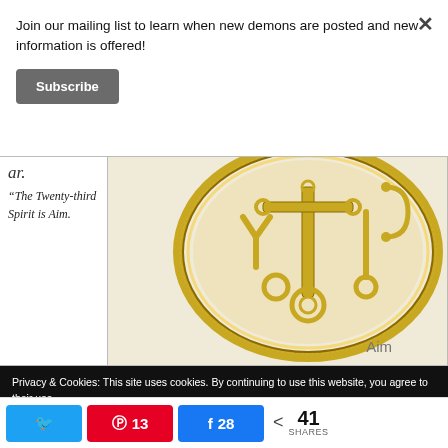Join our mailing list to learn when new demons are posted and new information is offered!
Subscribe
"The Twenty-third Spirit is Aim.
[Figure (illustration): Gold sigil/seal of Aim, a circular medallion with occult symbols including crosses, circles, and letters, with caption 'Aim' below]
Privacy & Cookies: This site uses cookies. By continuing to use this website, you agree to their use. To find out more, including how to control cookies, see here: Cookie Policy
41 SHARES — Twitter share button, Pinterest 13, Facebook 28